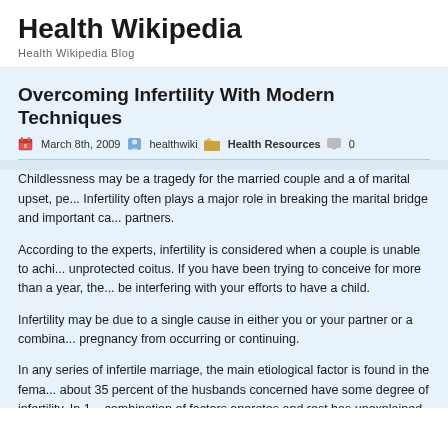Health Wikipedia
Health Wikipedia Blog
Overcoming Infertility With Modern Techniques
March 8th, 2009  healthwiki  Health Resources  0
Childlessness may be a tragedy for the married couple and a of marital upset, pe... Infertility often plays a major role in breaking the marital bridge and important ca... partners.
According to the experts, infertility is considered when a couple is unable to achi... unprotected coitus. If you have been trying to conceive for more than a year, the... be interfering with your efforts to have a child.
Infertility may be due to a single cause in either you or your partner or a combina... pregnancy from occurring or continuing.
In any series of infertile marriage, the main etiological factor is found in the fema... about 35 percent of the husbands concerned have some degree of infertility. In 1... combination of factors operates and rest has unexplained infertility.
In majority of cases female infertility is due to the obstruction in fallopian tube, lo... ovarian syndrome diabetes, thyroid disorder etc. Whereas in case of male, facto... numbers of competent sperm, resulting in failure to fertilise the normal ovum...